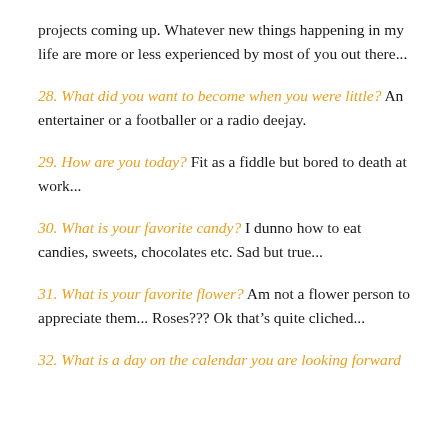projects coming up. Whatever new things happening in my life are more or less experienced by most of you out there...
28. What did you want to become when you were little? An entertainer or a footballer or a radio deejay.
29. How are you today? Fit as a fiddle but bored to death at work...
30. What is your favorite candy? I dunno how to eat candies, sweets, chocolates etc. Sad but true...
31. What is your favorite flower? Am not a flower person to appreciate them... Roses??? Ok that’s quite cliched...
32. What is a day on the calendar you are looking forward